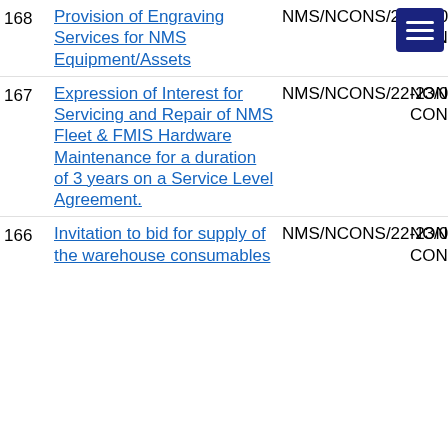| # | Title | Reference | Type |
| --- | --- | --- | --- |
| 168 | Provision of Engraving Services for NMS Equipment/Assets | NMS/NCONS/22-23/00018 | NON CONSU |
| 167 | Expression of Interest for Servicing and Repair of NMS Fleet & FMIS Hardware Maintenance for a duration of 3 years on a Service Level Agreement. | NMS/NCONS/22-23/00009 | NON CONSU |
| 166 | Invitation to bid for supply of the warehouse consumables | NMS/NCONS/22-23/00014 | NON CONSU |